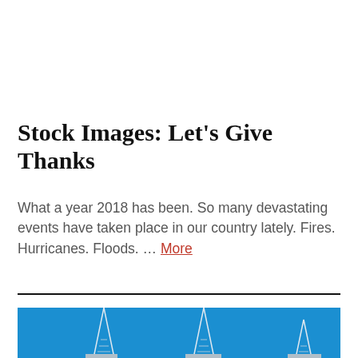Stock Images: Let’s Give Thanks
What a year 2018 has been. So many devastating events have taken place in our country lately. Fires. Hurricanes. Floods. … More
[Figure (photo): Blue sky background with what appears to be tall structures or towers (like a bridge or masts) visible at the bottom of the image.]